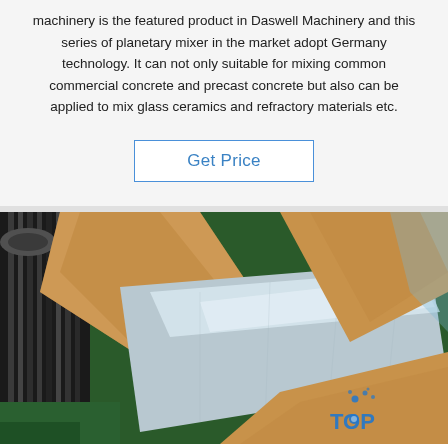machinery is the featured product in Daswell Machinery and this series of planetary mixer in the market adopt Germany technology. It can not only suitable for mixing common commercial concrete and precast concrete but also can be applied to mix glass ceramics and refractory materials etc.
Get Price
[Figure (photo): Close-up photo of stainless steel sheet metal plates packaged with brown kraft paper wrapping, with industrial machinery parts visible on the left side, on a green factory floor. A blue 'TOP' watermark logo appears in the bottom right.]